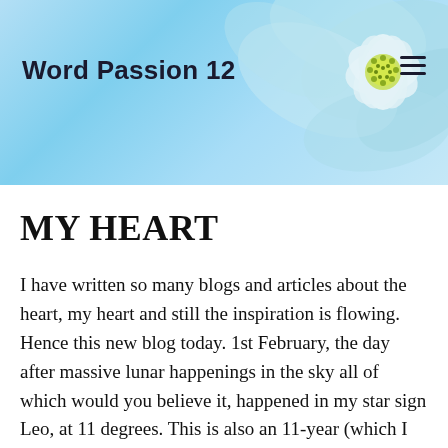[Figure (photo): Blog website header banner with light blue flower/petal background and a white-yellow flower (anemone) on the right side]
Word Passion 12
MY HEART
I have written so many blogs and articles about the heart, my heart and still the inspiration is flowing. Hence this new blog today. 1st February, the day after massive lunar happenings in the sky all of which would you believe it, happened in my star sign Leo, at 11 degrees. This is also an 11-year (which I wrote about earlier). So you can safely say, literally everything was in place for something really amazing!